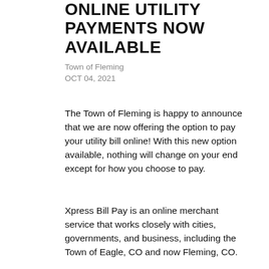ONLINE UTILITY PAYMENTS NOW AVAILABLE
Town of Fleming
OCT 04, 2021
The Town of Fleming is happy to announce that we are now offering the option to pay your utility bill online! With this new option available, nothing will change on your end except for how you choose to pay.
Xpress Bill Pay is an online merchant service that works closely with cities, governments, and business, including the Town of Eagle, CO and now Fleming, CO.